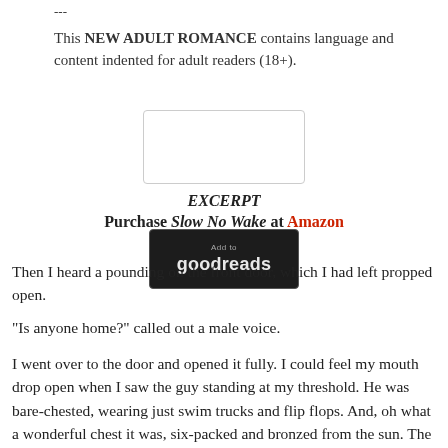---
This NEW ADULT ROMANCE contains language and content indented for adult readers (18+).
[Figure (other): Add to Goodreads button — dark rounded rectangle with 'Add to' in small grey text and 'goodreads' in large white bold text, surrounded by a light grey border frame.]
EXCERPT
Purchase Slow No Wake at Amazon
Then I heard a pounding on the front door, which I had left propped open.
“Is anyone home?” called out a male voice.
I went over to the door and opened it fully. I could feel my mouth drop open when I saw the guy standing at my threshold. He was bare-chested, wearing just swim trucks and flip flops. And, oh what a wonderful chest it was, six-packed and bronzed from the sun. The guy was about six feet tall; muscular and toned. When I could